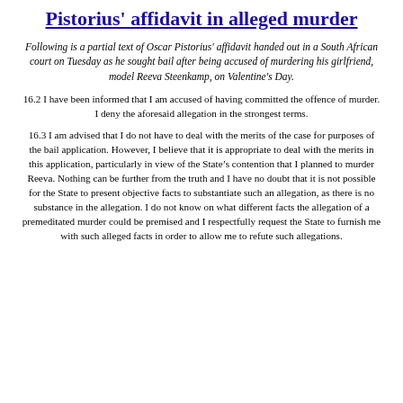Pistorius' affidavit in alleged murder
Following is a partial text of Oscar Pistorius' affidavit handed out in a South African court on Tuesday as he sought bail after being accused of murdering his girlfriend, model Reeva Steenkamp, on Valentine's Day.
16.2 I have been informed that I am accused of having committed the offence of murder. I deny the aforesaid allegation in the strongest terms.
16.3 I am advised that I do not have to deal with the merits of the case for purposes of the bail application. However, I believe that it is appropriate to deal with the merits in this application, particularly in view of the State’s contention that I planned to murder Reeva. Nothing can be further from the truth and I have no doubt that it is not possible for the State to present objective facts to substantiate such an allegation, as there is no substance in the allegation. I do not know on what different facts the allegation of a premeditated murder could be premised and I respectfully request the State to furnish me with such alleged facts in order to allow me to refute such allegations.